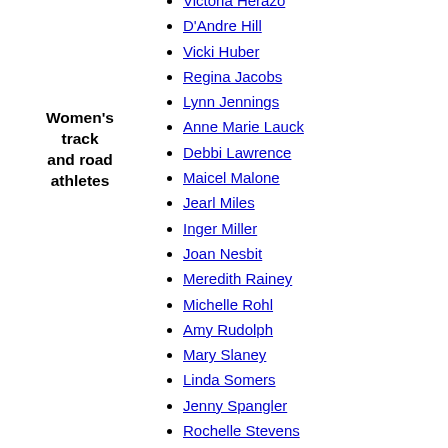Women's track and road athletes
Victoria Herazo
D'Andre Hill
Vicki Huber
Regina Jacobs
Lynn Jennings
Anne Marie Lauck
Debbi Lawrence
Maicel Malone
Jearl Miles
Inger Miller
Joan Nesbit
Meredith Rainey
Michelle Rohl
Amy Rudolph
Mary Slaney
Linda Somers
Jenny Spangler
Rochelle Stevens
Lynda Tolbert-Goode
Gwen Torrence
Linetta Wilson
Dannette Young
Amy Acuff
Valeyta Althouse